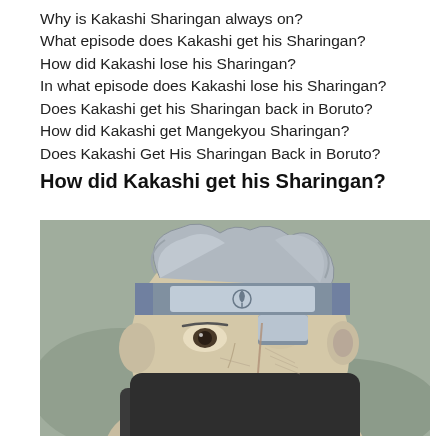Why is Kakashi Sharingan always on?
What episode does Kakashi get his Sharingan?
How did Kakashi lose his Sharingan?
In what episode does Kakashi lose his Sharingan?
Does Kakashi get his Sharingan back in Boruto?
How did Kakashi get Mangekyou Sharingan?
Does Kakashi Get His Sharingan Back in Boruto?
How did Kakashi get his Sharingan?
[Figure (illustration): Anime illustration of Kakashi from Naruto, shown in close-up with his headband, silver hair, scarred face, and black face mask. The image is in muted grey-green tones.]